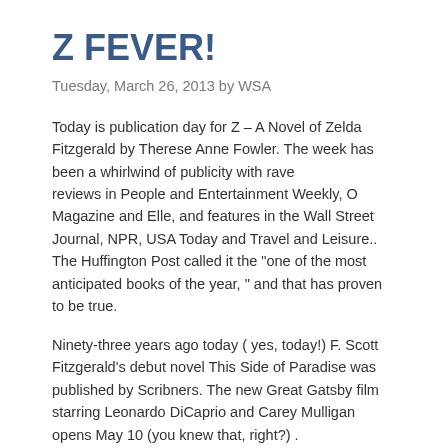Z FEVER!
Tuesday, March 26, 2013 by WSA
Today is publication day for Z – A Novel of Zelda Fitzgerald by Therese Anne Fowler. The week has been a whirlwind of publicity with rave reviews in People and Entertainment Weekly, O Magazine and Elle, and features in the Wall Street Journal, NPR, USA Today and Travel and Leisure.. The Huffington Post called it the “one of the most anticipated books of the year, ” and that has proven to be true.
Ninety-three years ago today ( yes, today!) F. Scott Fitzgerald’s debut novel This Side of Paradise was published by Scribners. The new Great Gatsby film starring Leonardo DiCaprio and Carey Mulligan opens May 10 (you knew that, right?) .
So Z Fever continues. I hope it will last a good long time.
I’d like to offer a big shout out of thanks to our brilliant editor Hope Dellon and the fantastic team at St. Martins Press. Join